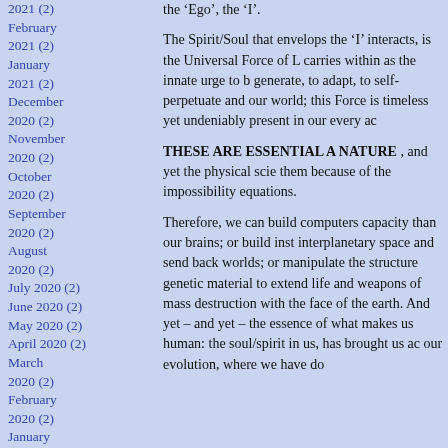2021 (2)
February 2021 (2)
January 2021 (2)
December 2020 (2)
November 2020 (2)
October 2020 (2)
September 2020 (2)
August 2020 (2)
July 2020 (2)
June 2020 (2)
May 2020 (2)
April 2020 (2)
March 2020 (2)
February 2020 (2)
January
the ‘Ego’, the ‘I’.
The Spirit/Soul that envelops the ‘I’ interacts, is the Universal Force of L... carries within as the innate urge to b... generate, to adapt, to self-perpetuate and our world; this Force is timeless... yet undeniably present in our every ac...
THESE ARE ESSENTIAL A... NATURE , and yet the physical scie... them because of the impossibility equations.
Therefore, we can build computers capacity than our brains; or build inst... interplanetary space and send back worlds; or manipulate the structure genetic material to extend life and weapons of mass destruction with the face of the earth. And yet – and yet – the essence of what makes us human: the soul/spirit in us, has brought us ac... our evolution, where we have do...